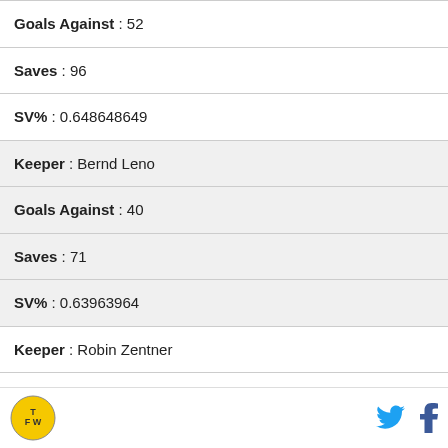| Goals Against : 52 |
| Saves : 96 |
| SV% : 0.648648649 |
| Keeper : Bernd Leno |
| Goals Against : 40 |
| Saves : 71 |
| SV% : 0.63963964 |
| Keeper : Robin Zentner |
| Goals Against : 27 |
| Saves : 41 |
| SV% : 0.602941176 |
TFW logo | Twitter | Facebook